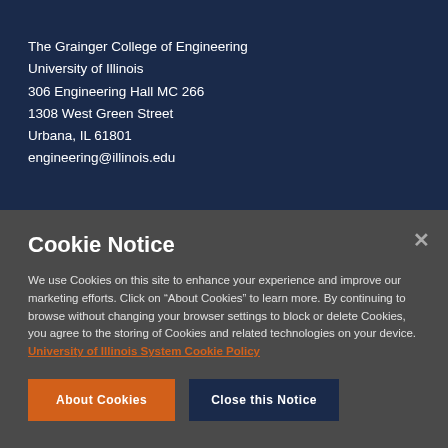The Grainger College of Engineering
University of Illinois
306 Engineering Hall MC 266
1308 West Green Street
Urbana, IL 61801
engineering@illinois.edu
Cookie Notice
We use Cookies on this site to enhance your experience and improve our marketing efforts. Click on “About Cookies” to learn more. By continuing to browse without changing your browser settings to block or delete Cookies, you agree to the storing of Cookies and related technologies on your device. University of Illinois System Cookie Policy